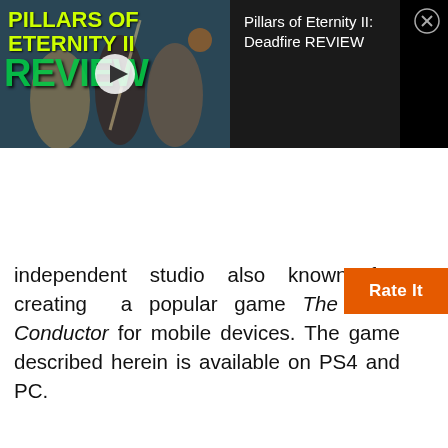[Figure (screenshot): Video overlay showing Pillars of Eternity II: Deadfire REVIEW thumbnail on the left with a play button, and video title text on the right against dark background, with a close (X) button in the top right corner.]
independent studio also known for creating a popular game The Train Conductor for mobile devices. The game described herein is available on PS4 and PC.
[Figure (other): Orange 'Rate It' button on the right side of the page.]